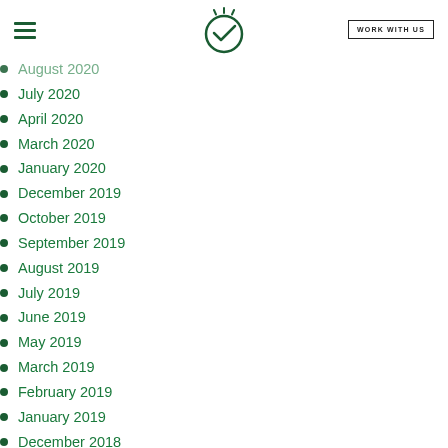WORK WITH US
August 2020
July 2020
April 2020
March 2020
January 2020
December 2019
October 2019
September 2019
August 2019
July 2019
June 2019
May 2019
March 2019
February 2019
January 2019
December 2018
September 2018
August 2018